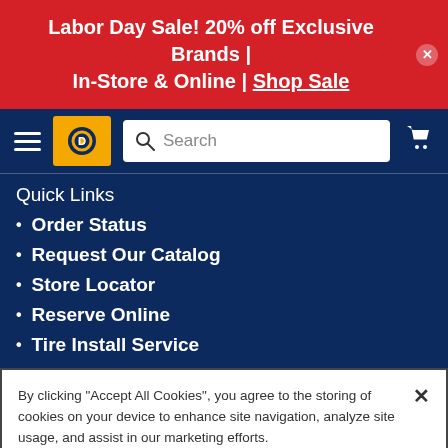Labor Day Sale! 20% off Exclusive Brands | In-Store & Online | Shop Sale
[Figure (screenshot): Navigation bar with hamburger menu, Discount Tire logo on yellow background, search bar, and shopping cart icon on dark navy background]
Quick Links
Order Status
Request Our Catalog
Store Locator
Reserve Online
Tire Install Service
By clicking "Accept All Cookies", you agree to the storing of cookies on your device to enhance site navigation, analyze site usage, and assist in our marketing efforts.
Cookies Settings | Accept All Cookies